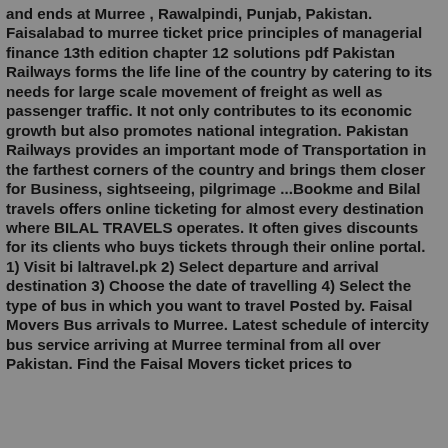and ends at Murree , Rawalpindi, Punjab, Pakistan. Faisalabad to murree ticket price principles of managerial finance 13th edition chapter 12 solutions pdf Pakistan Railways forms the life line of the country by catering to its needs for large scale movement of freight as well as passenger traffic. It not only contributes to its economic growth but also promotes national integration. Pakistan Railways provides an important mode of Transportation in the farthest corners of the country and brings them closer for Business, sightseeing, pilgrimage ...Bookme and Bilal travels offers online ticketing for almost every destination where BILAL TRAVELS operates. It often gives discounts for its clients who buys tickets through their online portal. 1) Visit bi laltravel.pk 2) Select departure and arrival destination 3) Choose the date of travelling 4) Select the type of bus in which you want to travel Posted by. Faisal Movers Bus arrivals to Murree. Latest schedule of intercity bus service arriving at Murree terminal from all over Pakistan. Find the Faisal Movers ticket prices to